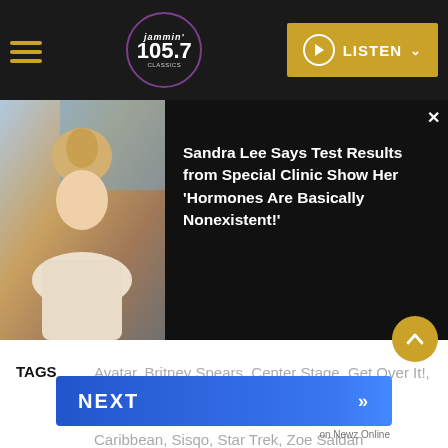Jammin 105.7 — LISTEN
[Figure (screenshot): Article card with photo of blonde woman and headline text on dark background]
Sandra Lee Says Test Results from Special Clinic Show Her 'Hormones Are Basically Nonexistent!'
TAGS   Avatar, Britney Spears, Center Stage, Get Over It!, Guardians Of The Galaxy, Guardians Of The Galaxy Vol. 2, Nick Cannon, Pirates Of The Caribbean, Sisqo, Star Trek, Zoe Saldana
NEXT >> on Newz Online